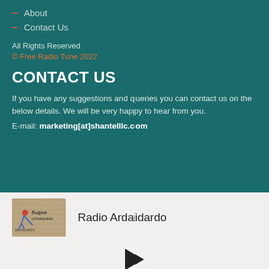About
Contact Us
All Rights Reserved
© Free Radio Tune 2022
CONTACT US
If you have any suggestions and queries you can contact us on the below details. We will be very happy to hear from you.
E-mail: marketing[at]shantelllc.com
[Figure (logo): Radio Ardaidardo logo — a wooden plank with stylized figure and text in Georgian/Cyrillic script]
Radio Ardaidardo
[Figure (other): Play button triangle icon]